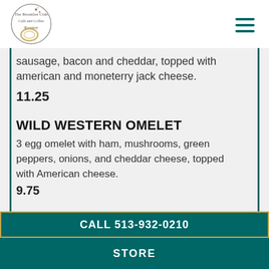The Breakfast Club Café and Coffee Roastery
sausage, bacon and cheddar, topped with american and moneterry jack cheese.
11.25
WILD WESTERN OMELET
3 egg omelet with ham, mushrooms, green peppers, onions, and cheddar cheese, topped with American cheese.
9.75
PORTABELLA ASIAGO OMELET
A fresh grilled portabella mushroom folded into a
CALL 513-932-0210
STORE